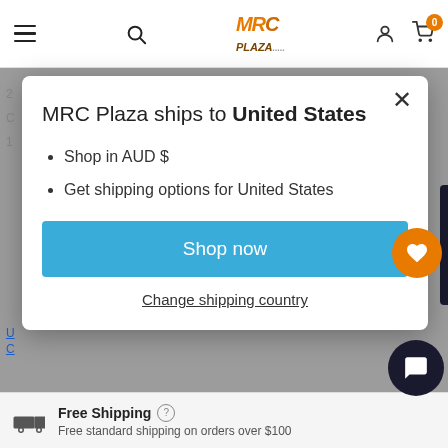[Figure (screenshot): MRC Plaza e-commerce website navigation bar with hamburger menu, search icon, MRC Plaza logo in orange/brown italic text, user account icon, and shopping cart icon with orange badge showing 0]
MRC Plaza ships to United States
• Shop in AUD $
• Get shipping options for United States
[Shop now button]
Change shipping country
Free Shipping ? Free standard shipping on orders over $100